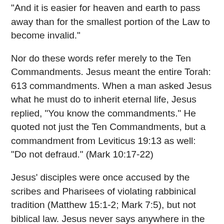"And it is easier for heaven and earth to pass away than for the smallest portion of the Law to become invalid."
Nor do these words refer merely to the Ten Commandments. Jesus meant the entire Torah: 613 commandments. When a man asked Jesus what he must do to inherit eternal life, Jesus replied, "You know the commandments." He quoted not just the Ten Commandments, but a commandment from Leviticus 19:13 as well: "Do not defraud." (Mark 10:17-22)
Jesus' disciples were once accused by the scribes and Pharisees of violating rabbinical tradition (Matthew 15:1-2; Mark 7:5), but not biblical law. Jesus never says anywhere in the entire New Testament that the Law is abolished; this was Paul's theology.
Sometimes Christians cite Matthew 7:12, where Jesus says "Do unto others..." and this "covers" the Law and the prophets. But Jesus was merely repeating in the positive what Rabbi Hillel taught a generation earlier. No one